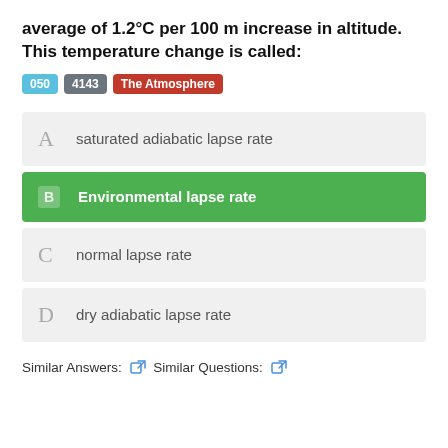average of 1.2°C per 100 m increase in altitude. This temperature change is called:
050  4143  The Atmosphere
A  saturated adiabatic lapse rate
B  Environmental lapse rate
C  normal lapse rate
D  dry adiabatic lapse rate
Similar Answers:  Similar Questions: